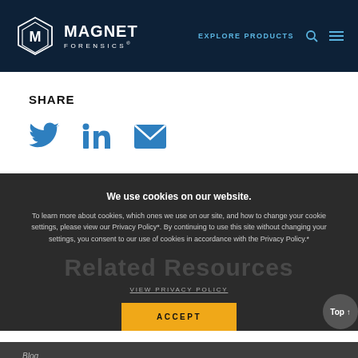MAGNET FORENSICS — EXPLORE PRODUCTS
SHARE
[Figure (other): Social share icons: Twitter bird, LinkedIn 'in', email envelope — all in blue]
We use cookies on our website.
To learn more about cookies, which ones we use on our site, and how to change your cookie settings, please view our Privacy Policy*. By continuing to use this site without changing your settings, you consent to our use of cookies in accordance with the Privacy Policy.*
Related Resources
VIEW PRIVACY POLICY
ACCEPT
Blog